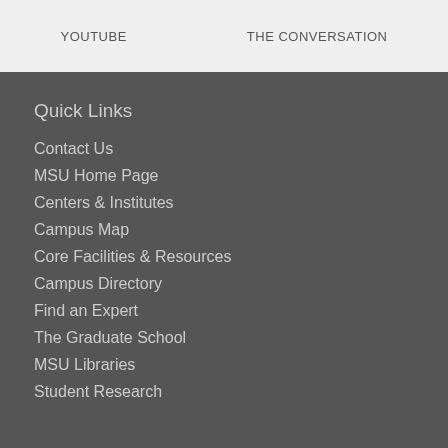YOUTUBE   THE CONVERSATION
Quick Links
Contact Us
MSU Home Page
Centers & Institutes
Campus Map
Core Facilities & Resources
Campus Directory
Find an Expert
The Graduate School
MSU Libraries
Student Research